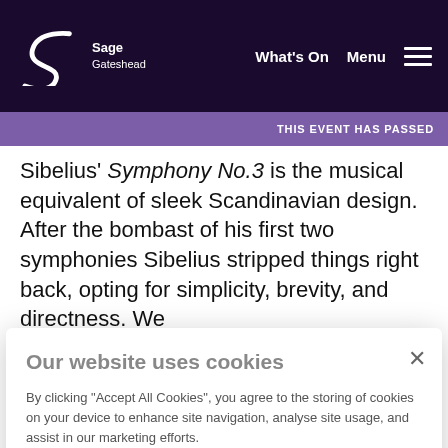Sage Gateshead — What's On — Menu
THIS EVENT HAS PASSED
Sibelius' Symphony No.3 is the musical equivalent of sleek Scandinavian design. After the bombast of his first two symphonies Sibelius stripped things right back, opting for simplicity, brevity, and directness. We
Our website uses cookies
By clicking "Accept All Cookies", you agree to the storing of cookies on your device to enhance site navigation, analyse site usage, and assist in our marketing efforts.
Manage Preferences
Reject All
Accept All Cookies